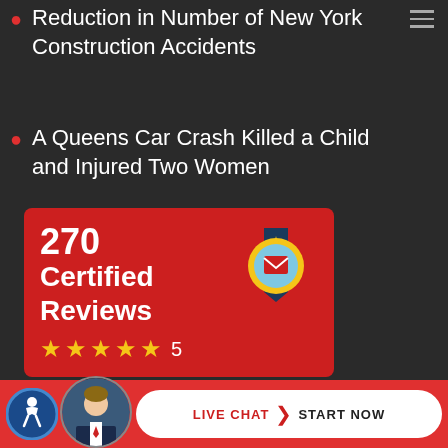Reduction in Number of New York Construction Accidents
A Queens Car Crash Killed a Child and Injured Two Women
[Figure (infographic): Red card showing 270 Certified Reviews with 5-star rating and a badge icon]
Request a Consultation
[Figure (infographic): Bottom bar with accessibility icon, lawyer photo, and Live Chat Start Now button]